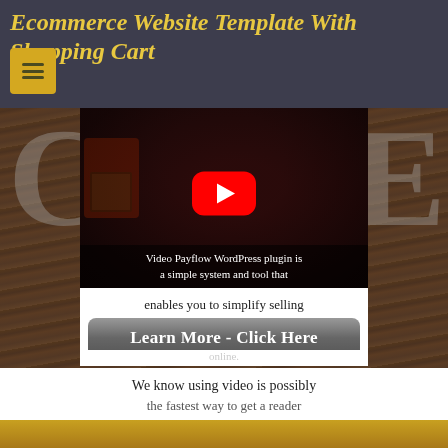Ecommerce Website Template With Shopping Cart
[Figure (screenshot): YouTube video thumbnail showing a person sitting in a gaming chair with red lighting, YouTube play button overlay, and caption text about Video Payflow WordPress plugin]
Video Payflow WordPress plugin is a simple system and tool that enables you to simplify selling online.
Learn More - Click Here
We know using video is possibly the fastest way to get a reader